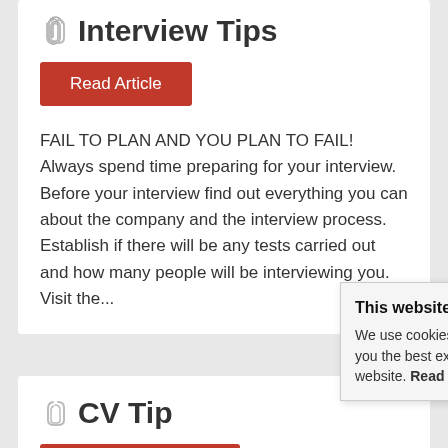Interview Tips
Read Article
FAIL TO PLAN AND YOU PLAN TO FAIL!  Always spend time preparing for your interview. Before your interview find out everything you can about the company and the interview process. Establish if there will be any tests carried out and how many people will be interviewing you. Visit the...
CV Tips
Read Article
This website uses cookies
We use cookies in order to give you the best experience of our website. Read More.
020 8546
the general rule is that your CV